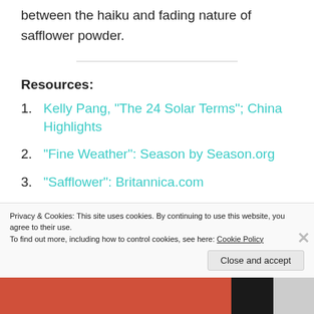between the haiku and fading nature of safflower powder.
Resources:
Kelly Pang, “The 24 Solar Terms”; China Highlights
“Fine Weather”: Season by Season.org
“Safflower”: Britannica.com
“Safflower: Wikipedia.com
Privacy & Cookies: This site uses cookies. By continuing to use this website, you agree to their use.
To find out more, including how to control cookies, see here: Cookie Policy